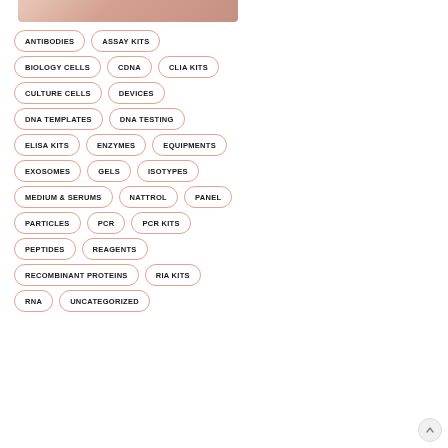[Figure (photo): Partial view of a person's hand/fingers at the top of the page]
ANTIBODIES
ASSAY KITS
BIOLOGY CELLS
CDNA
CLIA KITS
CULTURE CELLS
DEVICES
DNA TEMPLATES
DNA TESTING
ELISA KITS
ENZYMES
EQUIPMENTS
EXOSOMES
GELS
ISOTYPES
MEDIUM & SERUMS
NATTROL
PANEL
PARTICLES
PCR
PCR KITS
PEPTIDES
REAGENTS
RECOMBINANT PROTEINS
RIA KITS
RNA
UNCATEGORIZED